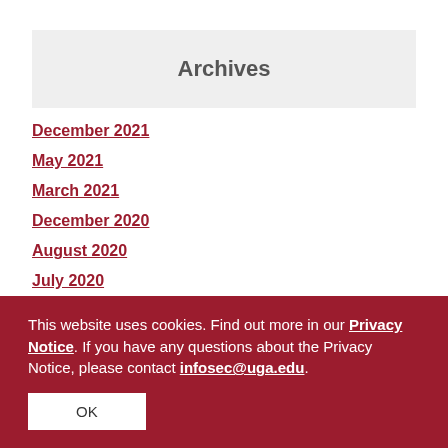Archives
December 2021
May 2021
March 2021
December 2020
August 2020
July 2020
This website uses cookies. Find out more in our Privacy Notice. If you have any questions about the Privacy Notice, please contact infosec@uga.edu.
OK